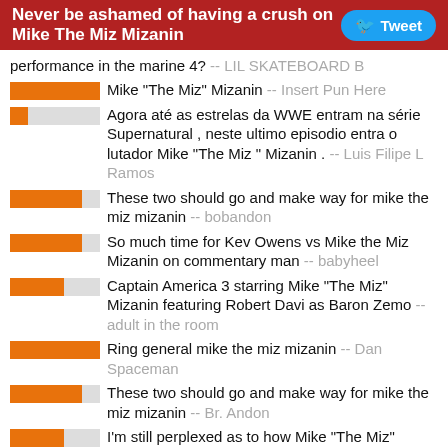Never be ashamed of having a crush on Mike The Miz Mizanin
performance in the marine 4? -- LIL SKATEBOARD B
Mike "The Miz" Mizanin -- Insert Pun Here
Agora até as estrelas da WWE entram na série Supernatural , neste ultimo episodio entra o lutador Mike "The Miz " Mizanin . -- Luis Filipe L Ramos
These two should go and make way for mike the miz mizanin -- bobandon
So much time for Kev Owens vs Mike the Miz Mizanin on commentary man -- babyheel
Captain America 3 starring Mike "The Miz" Mizanin featuring Robert Davi as Baron Zemo -- adult in the room
Ring general mike the miz mizanin -- Dan Spaceman
These two should go and make way for mike the miz mizanin -- Br. Andon
I'm still perplexed as to how Mike "The Miz" Mizanin goofy behind was able to pull Maryse!!!! -- Sage The MIP
Imagine McGregor showing up on Miz TV, giving up seven inches to Mike 'The Miz' Mizanin & not being able to verbally hang -- Yung Roy
Melty green with envy as Mike The Miz Mizanin celebrates